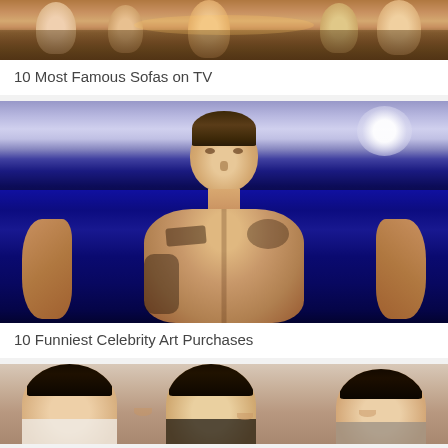[Figure (photo): Partial view of people sitting around a table, TV show scene with colorful background]
10 Most Famous Sofas on TV
[Figure (photo): Shirtless young male celebrity with tattoos standing on stage with blue and white background]
10 Funniest Celebrity Art Purchases
[Figure (photo): Three dark-haired women smiling, posing together in formal wear]